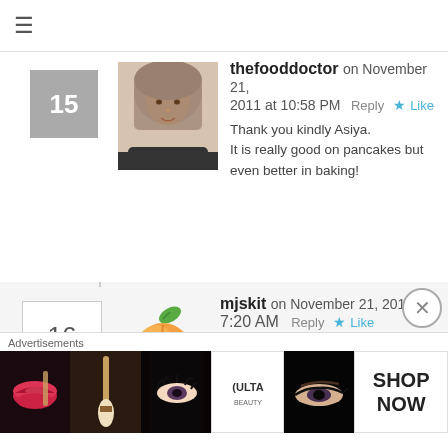≡ (navigation menu icon)
thefooddoctor on November 21, 2011 at 10:58 PM   Reply ★ Like
Thank you kindly Asiya.
It is really good on pancakes but even better in baking!
mjskit on November 21, 2011 at 7:20 AM   Reply ★ Like
Looks like you had a lot of fun! Everything looks amazing but I especially love the Maple Apple Bread! It looks delicious both as bread and muffins. Great recipe!
Advertisements